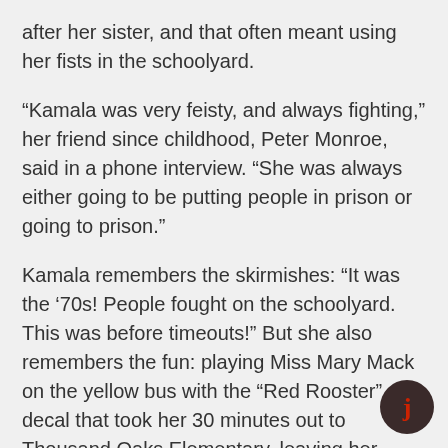after her sister, and that often meant using her fists in the schoolyard.
“Kamala was very feisty, and always fighting,” her friend since childhood, Peter Monroe, said in a phone interview. “She was always either going to be putting people in prison or going to prison.”
Kamala remembers the skirmishes: “It was the ‘70s! People fought on the schoolyard. This was before timeouts!” But she also remembers the fun: playing Miss Mary Mack on the yellow bus with the “Red Rooster” decal that took her 30 minutes out to Thousand Oaks Elementary, leaving her diverse, middle-class neighborhood to help integrate a school that a decade earlier was only 2.5 percent black.
It’s obvious now, that Maya was right to push Kamala to share more of her personal history. Less than a month after speaking in South Carolina, Kamala's campaign has surged in the polls, all because she took the debate stage in Miami, and had gone after former vice president Joe Biden by telling her story. Months earlier,